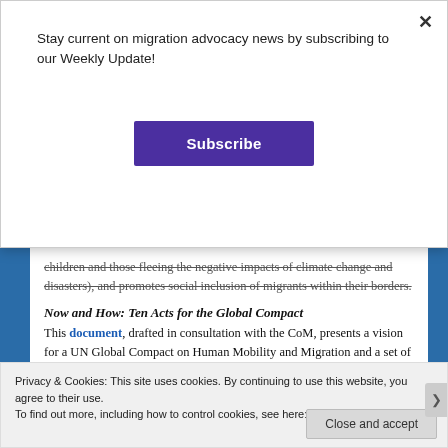Stay current on migration advocacy news by subscribing to our Weekly Update!
Subscribe
children and those fleeing the negative impacts of climate change and disasters), and promotes social inclusion of migrants within their borders.
Now and How: Ten Acts for the Global Compact
This document, drafted in consultation with the CoM, presents a vision for a UN Global Compact on Human Mobility and Migration and a set of TEN ACTS that a wide diversity of non-
Privacy & Cookies: This site uses cookies. By continuing to use this website, you agree to their use.
To find out more, including how to control cookies, see here: Cookie Policy
Close and accept